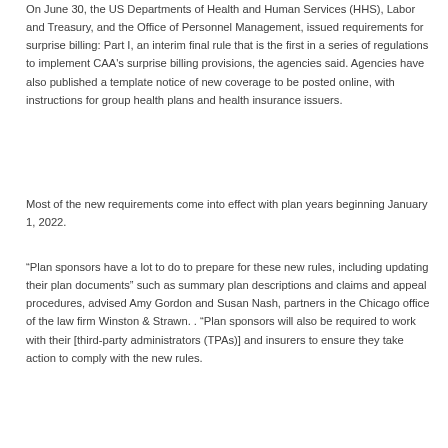On June 30, the US Departments of Health and Human Services (HHS), Labor and Treasury, and the Office of Personnel Management, issued requirements for surprise billing: Part I, an interim final rule that is the first in a series of regulations to implement CAA's surprise billing provisions, the agencies said. Agencies have also published a template notice of new coverage to be posted online, with instructions for group health plans and health insurance issuers.
Most of the new requirements come into effect with plan years beginning January 1, 2022.
“Plan sponsors have a lot to do to prepare for these new rules, including updating their plan documents” such as summary plan descriptions and claims and appeal procedures, advised Amy Gordon and Susan Nash, partners in the Chicago office of the law firm Winston & Strawn. . “Plan sponsors will also be required to work with their [third-party administrators (TPAs)] and insurers to ensure they take action to comply with the new rules.